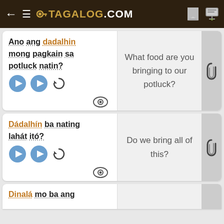TAGALOG.COM
Ano ang dadalhin mong pagkain sa potluck natin?
Dádalhín ba nating lahát itó?
Dinalá mo ba ang